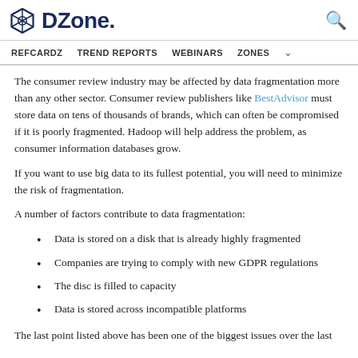DZone. [search icon]
REFCARDZ  TREND REPORTS  WEBINARS  ZONES
The consumer review industry may be affected by data fragmentation more than any other sector. Consumer review publishers like BestAdvisor must store data on tens of thousands of brands, which can often be compromised if it is poorly fragmented. Hadoop will help address the problem, as consumer information databases grow.
If you want to use big data to its fullest potential, you will need to minimize the risk of fragmentation.
A number of factors contribute to data fragmentation:
Data is stored on a disk that is already highly fragmented
Companies are trying to comply with new GDPR regulations
The disc is filled to capacity
Data is stored across incompatible platforms
The last point listed above has been one of the biggest issues over the last